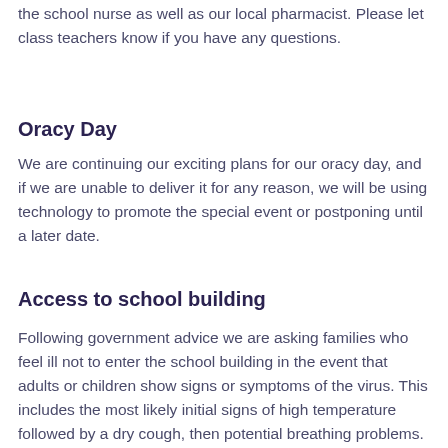the school nurse as well as our local pharmacist. Please let class teachers know if you have any questions.
Oracy Day
We are continuing our exciting plans for our oracy day, and if we are unable to deliver it for any reason, we will be using technology to promote the special event or postponing until a later date.
Access to school building
Following government advice we are asking families who feel ill not to enter the school building in the event that adults or children show signs or symptoms of the virus. This includes the most likely initial signs of high temperature followed by a dry cough, then potential breathing problems. There are signs at the front door about this. We are not giving access to any